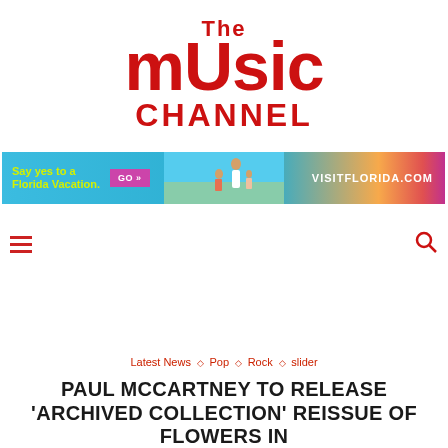[Figure (logo): The Music Channel logo in red bold lettering]
[Figure (photo): Advertisement banner: Say yes to a Florida Vacation. GO button. VISITFLORIDA.COM with beach scene image.]
[Figure (other): Navigation bar with red hamburger menu icon on left and red search icon on right]
Latest News ◇ Pop ◇ Rock ◇ slider
PAUL MCCARTNEY TO RELEASE 'ARCHIVED COLLECTION' REISSUE OF FLOWERS IN